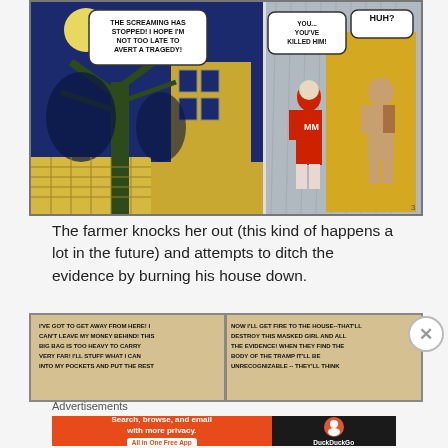[Figure (illustration): Comic strip panels showing a nighttime scene with a tree and building on the left, speech bubble reading 'THE SCREAMING HAS STOPPED! I HOPE I'M NOT TOO LATE TO AVERT A TRAGEDY!', and on the right a woman in red costume with 'MM' on her chest and a man, with speech bubbles 'YOU... YOU'VE KILLED HIM!' and 'HUH?']
The farmer knocks her out (this kind of happens a lot in the future) and attempts to ditch the evidence by burning his house down.
[Figure (illustration): Comic strip panels showing text: left panel 'I'VE GOT TO GET AWAY FROM HERE! I CAN'T LEAVE MY MONEY BEHIND! THIS BIG BAG IS TOO HEAVY TO CARRY VERY FAR! I'LL STUFF WHAT I CAN INTO MY POCKETS AND PUT THE REST...' and right panel 'NOW I'LL GET FIRE TO THE HOUSE -- THAT'LL DESTROY THIS MASKED GIRL AND ALL THE EVIDENCE! WHEN THEY FIND THE BODY OF THE TRAMP IT'LL BE UNRECOGNIZABLE -- THEY'LL THINK...']
Advertisements
[Figure (other): DuckDuckGo advertisement banner: 'Search, browse, and email with more privacy. All in One Free App' with DuckDuckGo logo on dark background]